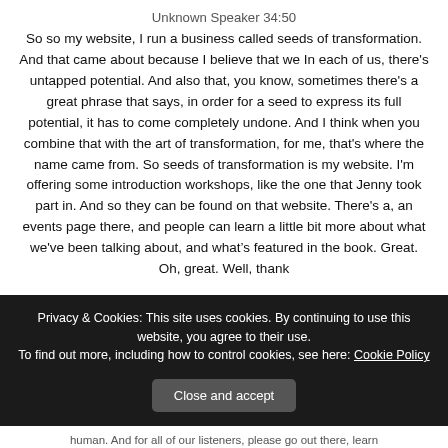Unknown Speaker 34:50
So so my website, I run a business called seeds of transformation. And that came about because I believe that we In each of us, there's untapped potential. And also that, you know, sometimes there's a great phrase that says, in order for a seed to express its full potential, it has to come completely undone. And I think when you combine that with the art of transformation, for me, that's where the name came from. So seeds of transformation is my website. I'm offering some introduction workshops, like the one that Jenny took part in. And so they can be found on that website. There's a, an events page there, and people can learn a little bit more about what we've been talking about, and what's featured in the book. Great. Oh, great. Well, thank
Privacy & Cookies: This site uses cookies. By continuing to use this website, you agree to their use.
To find out more, including how to control cookies, see here: Cookie Policy
Close and accept
human. And for all of our listeners, please go out there, learn